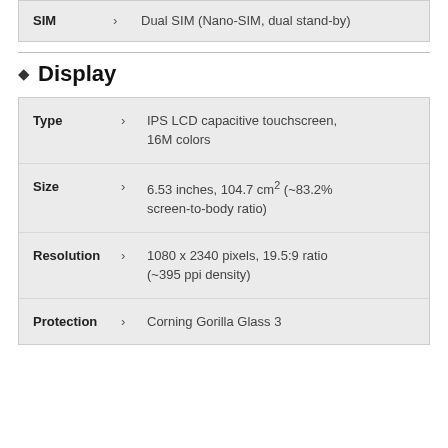| Field |  | Value |
| --- | --- | --- |
| SIM | > | Dual SIM (Nano-SIM, dual stand-by) |
Display
| Field |  | Value |
| --- | --- | --- |
| Type | > | IPS LCD capacitive touchscreen, 16M colors |
| Size | > | 6.53 inches, 104.7 cm² (~83.2% screen-to-body ratio) |
| Resolution | > | 1080 x 2340 pixels, 19.5:9 ratio (~395 ppi density) |
| Protection | > | Corning Gorilla Glass 3 |